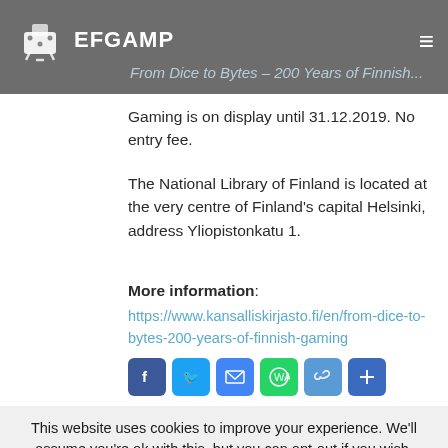EFGAMP — From Dice to Bytes – 200 Years of Finnish Gaming
Gaming is on display until 31.12.2019. No entry fee.
The National Library of Finland is located at the very centre of Finland's capital Helsinki, address Yliopistonkatu 1.
More information: https://www.kansalliskirjasto.fi/en/from-dice-to-bytes-200-years-of-finnish-gaming
[Figure (infographic): Social sharing icons: Facebook, Twitter, Email, WhatsApp, Link, Share/Plus]
This website uses cookies to improve your experience. We'll assume you're ok with this, but you can opt-out if you wish. Accept Read More